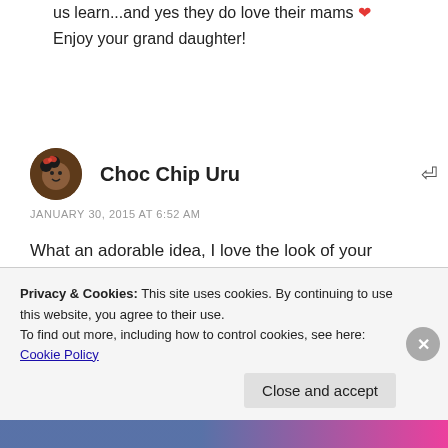us learn...and yes they do love their mams ❤
Enjoy your grand daughter!
Choc Chip Uru
JANUARY 30, 2015 AT 6:52 AM
What an adorable idea, I love the look of your melting snowmen 😀
Thanks for sharing such happy, smiling photos!

Cheers
Choc Chip Uru
Privacy & Cookies: This site uses cookies. By continuing to use this website, you agree to their use.
To find out more, including how to control cookies, see here: Cookie Policy
Close and accept